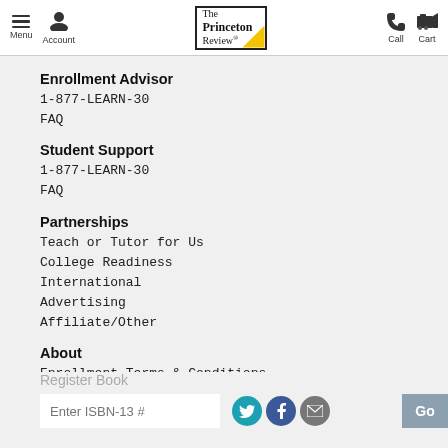Menu | Account | The Princeton Review | Call | Cart
Enrollment Advisor
1-877-LEARN-30
FAQ
Student Support
1-877-LEARN-30
FAQ
Partnerships
Teach or Tutor for Us
College Readiness
International
Advertising
Affiliate/Other
About
Enrollment Terms & Conditions
Accessibility
Cigna Medical
Transparency in Coverage
Register Book | Enter ISBN-13 # | Go